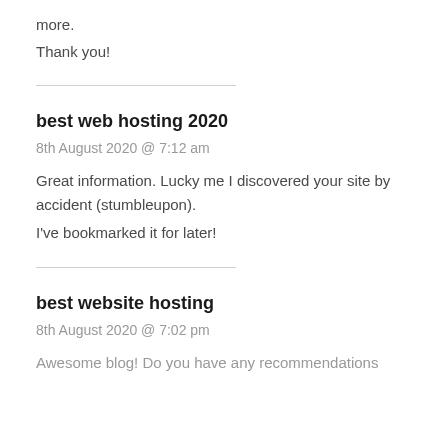more.
Thank you!
best web hosting 2020
8th August 2020 @ 7:12 am
Great information. Lucky me I discovered your site by accident (stumbleupon).
I've bookmarked it for later!
best website hosting
8th August 2020 @ 7:02 pm
Awesome blog! Do you have any recommendations